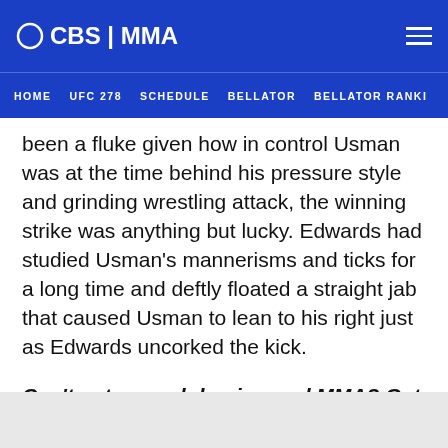CBS | MMA
HOME  UFC 278  SCHEDULE  BELLATOR  BELLATOR RANKI
been a fluke given how in control Usman was at the time behind his pressure style and grinding wrestling attack, the winning strike was anything but lucky. Edwards had studied Usman's mannerisms and ticks for a long time and deftly floated a straight jab that caused Usman to lean to his right just as Edwards uncorked the kick.
Can't get enough boxing and MMA? Get the latest in the world of combat sports from two of the best in the business. Subscribe to Morning Kombat
with Luke Thomas and Brian Campbell for the best